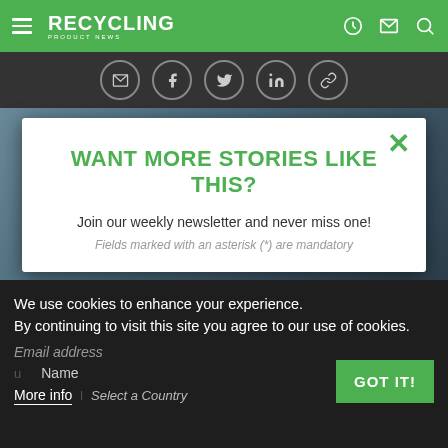RECYCLING PRODUCT NEWS
[Figure (screenshot): Social share icons bar with email, Facebook, Twitter, LinkedIn, and link icons in dark circular buttons]
[Figure (photo): Background photo of office/workplace scene, partially visible behind modal popup]
WANT MORE STORIES LIKE THIS?
Join our weekly newsletter and never miss one!
Fields marked with an asterisk (*) are mandatory
We use cookies to enhance your experience. By continuing to visit this site you agree to our use of cookies.
Email address
Name
More info
Select a Country
GOT IT!